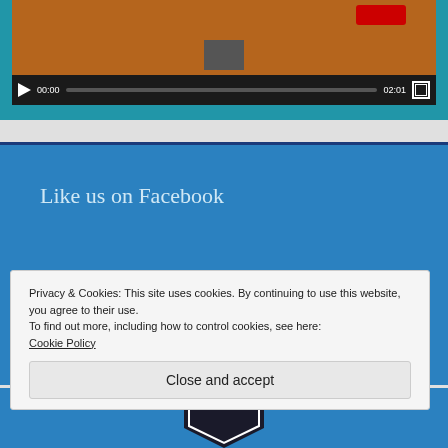[Figure (screenshot): Video player showing a 3D scene with cubes on a brown/sandy surface, with playback controls showing time 00:00 / 02:01 and a play button]
Like us on Facebook
Privacy & Cookies: This site uses cookies. By continuing to use this website, you agree to their use.
To find out more, including how to control cookies, see here:
Cookie Policy
Close and accept